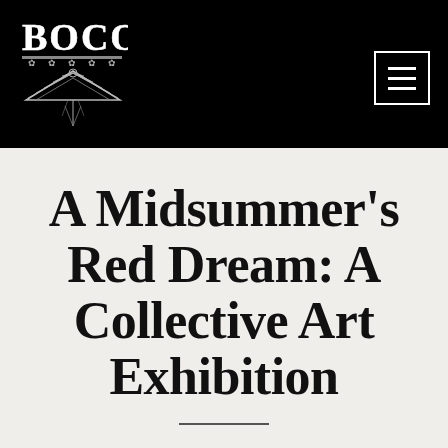[Figure (logo): BOCO logo: bold serif BOCO text above an art deco triangular emblem with cannabis leaf motifs and radiating lines, white on black background]
[Figure (other): Hamburger menu icon: three horizontal white lines inside a white-bordered square, top right of black header]
A Midsummer's Red Dream: A Collective Art Exhibition
[Figure (other): Short horizontal divider line below the title]